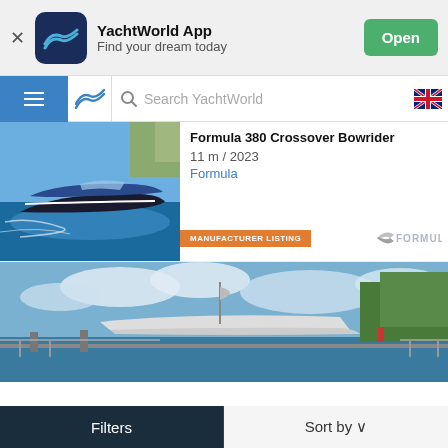[Figure (screenshot): YachtWorld app banner with logo, app name, tagline, and Open button]
[Figure (screenshot): Navigation bar with hamburger menu, YachtWorld logo, search field, and Australian flag]
[Figure (photo): Photo of a Formula speedboat on water]
11 m / 2023
Formula
MANUFACTURER LISTING
[Figure (photo): Photo of a yacht docked on a calm waterway with trees and cloudy sky]
Filters
Sort by